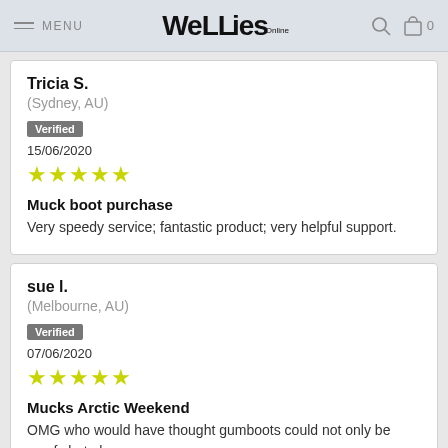MENU | Wellies Online | 0
Tricia S.
(Sydney, AU)
Verified
15/06/2020
★★★★★
Muck boot purchase
Very speedy service; fantastic product; very helpful support.
sue l.
(Melbourne, AU)
Verified
07/06/2020
★★★★★
Mucks Arctic Weekend
OMG who would have thought gumboots could not only be comfy but oh sooo warm.